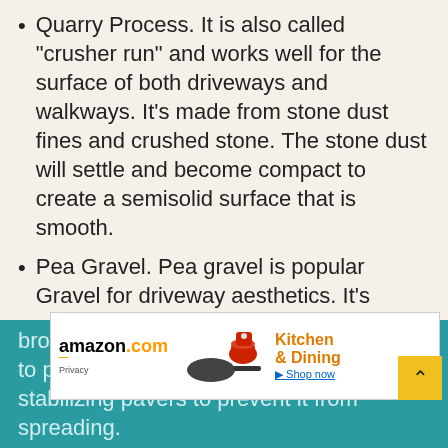Quarry Process. It is also called “crusher run” and works well for the surface of both driveways and walkways. It’s made from stone dust fines and crushed stone. The stone dust will settle and become compact to create a semisolid surface that is smooth.
Pea Gravel. Pea gravel is popular Gravel for driveway aesthetics. It’s made up of round, small stones that can come in many different colors.
Jersey Shore Gravel. It is made of yellow, tan, white, gold, and brown colored river stones and. It’s similar to pea gravel, but needs borders or stabilizing pavers to prevent it from spreading.
[Figure (screenshot): Amazon.com Kitchen & Dining advertisement banner with pan and mixer imagery]